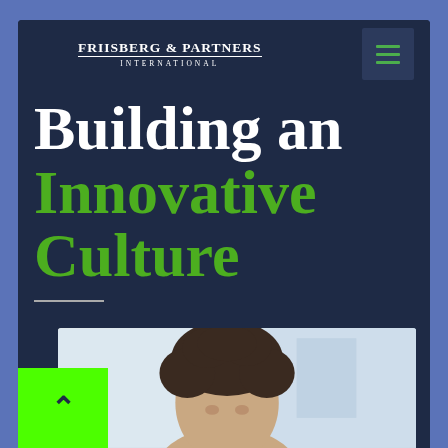[Figure (logo): Friisberg & Partners International logo with crescent moon icon and company name]
Building an Innovative Culture
[Figure (photo): Portrait photo of a person with dark curly hair, partially visible at the bottom of the page]
[Figure (other): Green back-to-top button with upward chevron arrow]